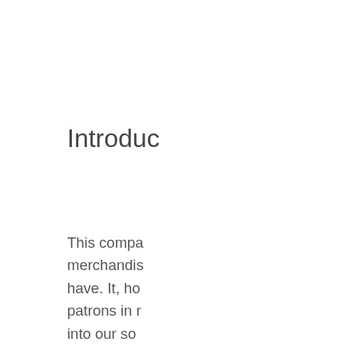Introduc…
This compa… merchandis… have. It, ho… patrons in n… into our so…
As one of t… The pharm… highest qua… you read o… one thousa… and take a… code on the…
I went to ar…